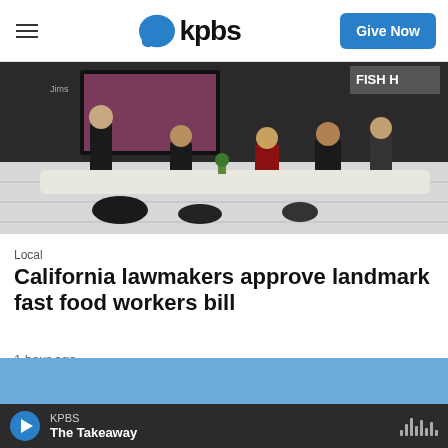KPBS — Give Now
[Figure (photo): People sitting and standing outdoors against a white brick wall, with bags on the ground. A 'FISH H' sign is partially visible in the top right corner.]
Local
California lawmakers approve landmark fast food workers bill
1 hour ago
[Figure (other): Blue promotional banner bar]
KPBS
The Takeaway